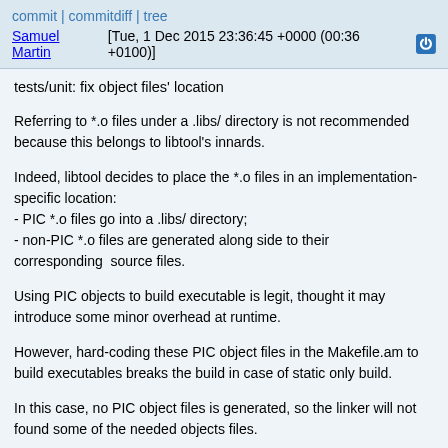commit | commitdiff | tree
Samuel Martin [Tue, 1 Dec 2015 23:36:45 +0000 (00:36 +0100)]
tests/unit: fix object files' location
Referring to *.o files under a .libs/ directory is not recommended because this belongs to libtool's innards.
Indeed, libtool decides to place the *.o files in an implementation-specific location:
- PIC *.o files go into a .libs/ directory;
- non-PIC *.o files are generated along side to their corresponding source files.
Using PIC objects to build executable is legit, thought it may introduce some minor overhead at runtime.
However, hard-coding these PIC object files in the Makefile.am to build executables breaks the build in case of static only build.
In this case, no PIC object files is generated, so the linker will not found some of the needed objects files.
Changing these dependencies' path fixes the static build, keeping the